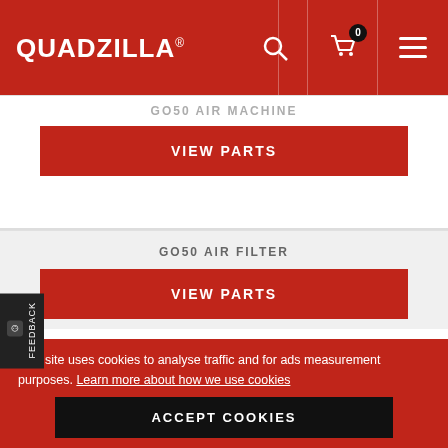QUADZILLA
GO50 AIR MACHINE
VIEW PARTS
GO50 AIR FILTER
VIEW PARTS
GO50 ELECTRICAL SYSTEM
This site uses cookies to analyse traffic and for ads measurement purposes. Learn more about how we use cookies
ACCEPT COOKIES